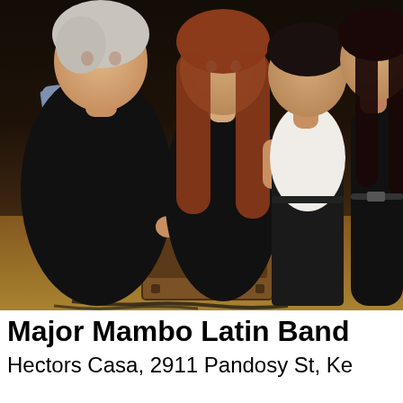[Figure (photo): Four people posing together in what appears to be a music venue or rehearsal space. From left to right: an older man with gray hair wearing all black, a woman with long curly auburn/red hair wearing black, a man with short dark hair wearing a white shirt and black pants, and a woman with long dark hair wearing a black sleeveless outfit. In the background, a guitar amp, cables on the floor, and what appears to be a guitar are visible.]
Major Mambo Latin Band
Hectors Casa, 2911 Pandosy St, Ke...